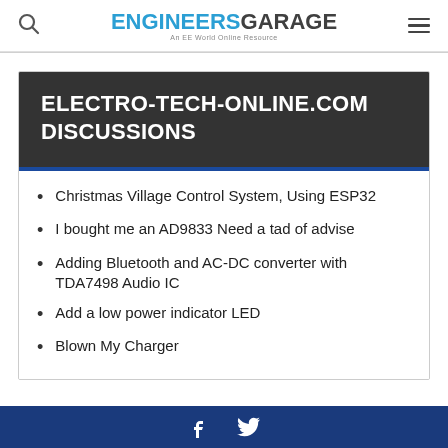ENGINEERS GARAGE — An EE World Online Resource
ELECTRO-TECH-ONLINE.COM DISCUSSIONS
Christmas Village Control System, Using ESP32
I bought me an AD9833 Need a tad of advise
Adding Bluetooth and AC-DC converter with TDA7498 Audio IC
Add a low power indicator LED
Blown My Charger
Footer with social media icons (Facebook, Twitter)